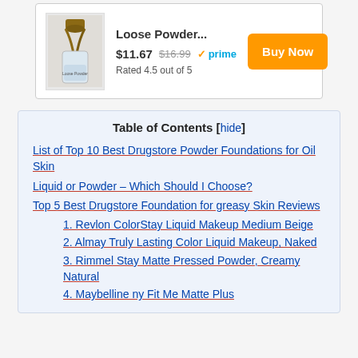[Figure (screenshot): Product card showing Loose Powder with brush image, price $11.67 (was $16.99), Prime badge, Rated 4.5 out of 5, and Buy Now button]
Table of Contents [hide]
List of Top 10 Best Drugstore Powder Foundations for Oil Skin
Liquid or Powder – Which Should I Choose?
Top 5 Best Drugstore Foundation for greasy Skin Reviews
1. Revlon ColorStay Liquid Makeup Medium Beige
2. Almay Truly Lasting Color Liquid Makeup, Naked
3. Rimmel Stay Matte Pressed Powder, Creamy Natural
4. Maybelline ny Fit Me Matte Plus